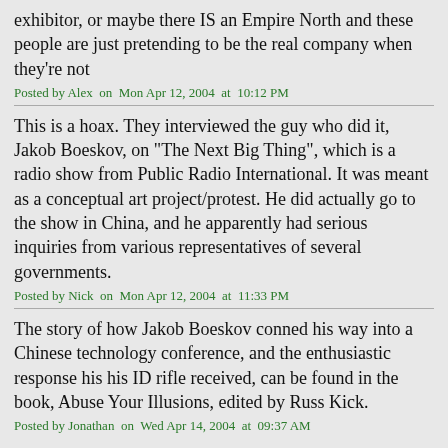exhibitor, or maybe there IS an Empire North and these people are just pretending to be the real company when they're not
Posted by Alex  on  Mon Apr 12, 2004  at  10:12 PM
This is a hoax. They interviewed the guy who did it, Jakob Boeskov, on "The Next Big Thing", which is a radio show from Public Radio International. It was meant as a conceptual art project/protest. He did actually go to the show in China, and he apparently had serious inquiries from various representatives of several governments.
Posted by Nick  on  Mon Apr 12, 2004  at  11:33 PM
The story of how Jakob Boeskov conned his way into a Chinese technology conference, and the enthusiastic response his his ID rifle received, can be found in the book, Abuse Your Illusions, edited by Russ Kick.
Posted by Jonathan  on  Wed Apr 14, 2004  at  09:37 AM